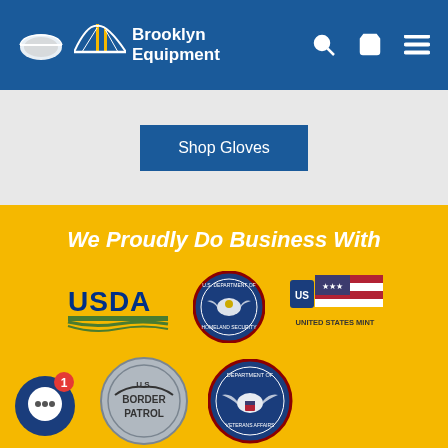[Figure (logo): Brooklyn Equipment logo with mask icon and Brooklyn Bridge graphic, white text on blue background]
[Figure (screenshot): Header navigation icons: search, shopping cart, menu hamburger in white on blue background]
Shop Gloves
We Proudly Do Business With
[Figure (logo): USDA logo - blue text with green graphic]
[Figure (logo): U.S. Department of Homeland Security circular seal]
[Figure (logo): United States Mint logo with American flag]
[Figure (logo): Chat widget icon with notification badge showing 1]
[Figure (logo): U.S. Border Patrol circular badge logo]
[Figure (logo): Department of Veterans Affairs circular seal]